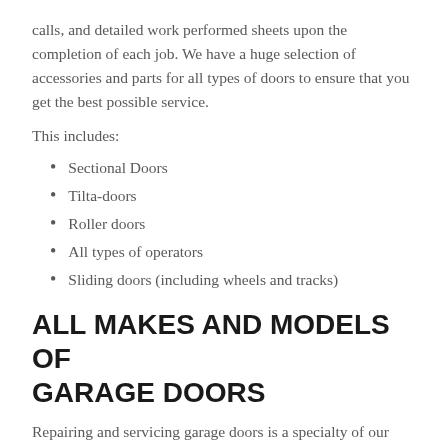calls, and detailed work performed sheets upon the completion of each job. We have a huge selection of accessories and parts for all types of doors to ensure that you get the best possible service.
This includes:
Sectional Doors
Tilta-doors
Roller doors
All types of operators
Sliding doors (including wheels and tracks)
ALL MAKES AND MODELS OF GARAGE DOORS
Repairing and servicing garage doors is a specialty of our highly trained team.Our technicians are skilled in correctly diagnosing and fixing any issues your door might have. Some of these issues include: